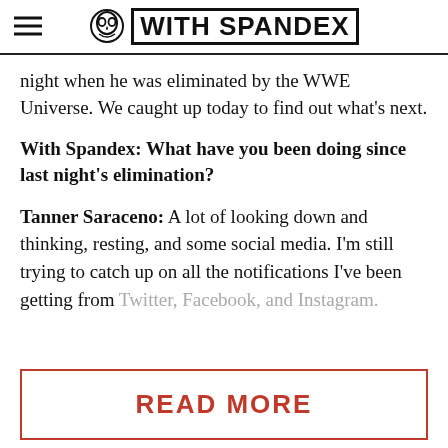WITH SPANDEX
night when he was eliminated by the WWE Universe. We caught up today to find out what's next.
With Spandex: What have you been doing since last night's elimination?
Tanner Saraceno: A lot of looking down and thinking, resting, and some social media. I'm still trying to catch up on all the notifications I've been getting from Twitter, Facebook, and Instagram.
READ MORE